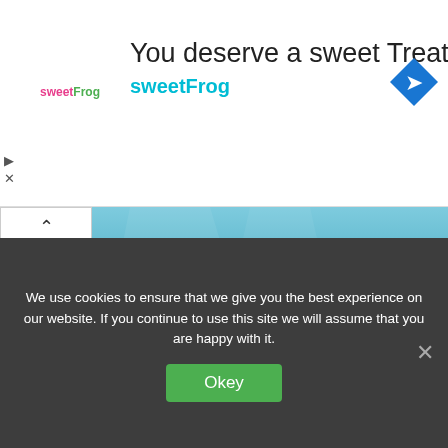[Figure (screenshot): Advertisement banner for sweetFrog frozen yogurt with logo, tagline 'You deserve a sweet Treat', brand name 'sweetFrog' in teal, and a blue navigation diamond icon on the right.]
[Figure (photo): Underwater photo of a person in a black wetsuit snorkeling or diving over a coral reef, holding a camera, with clear blue water and sunlight filtering through.]
Great Barrier Reef health
We use cookies to ensure that we give you the best experience on our website. If you continue to use this site we will assume that you are happy with it.